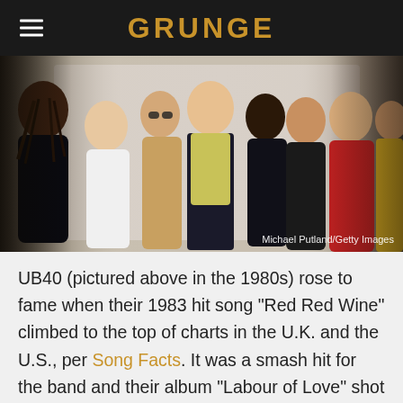GRUNGE
[Figure (photo): Group photo of UB40 band members, approximately 8 men, taken in the 1980s against a light background. Photo credit: Michael Putland/Getty Images]
UB40 (pictured above in the 1980s) rose to fame when their 1983 hit song "Red Red Wine" climbed to the top of charts in the U.K. and the U.S., per Song Facts. It was a smash hit for the band and their album "Labour of Love" shot up to the No. 1 spot in the U.K. (via Official Charts). It